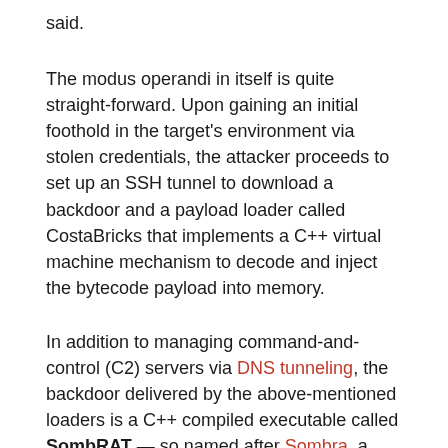said.
The modus operandi in itself is quite straight-forward. Upon gaining an initial foothold in the target's environment via stolen credentials, the attacker proceeds to set up an SSH tunnel to download a backdoor and a payload loader called CostaBricks that implements a C++ virtual machine mechanism to decode and inject the bytecode payload into memory.
In addition to managing command-and-control (C2) servers via DNS tunneling, the backdoor delivered by the above-mentioned loaders is a C++ compiled executable called SombRAT — so named after Sombra, a Mexican hacker, and infiltrator from the popular multiplayer game Overwatch.
The backdoor comes equipped with 50 different